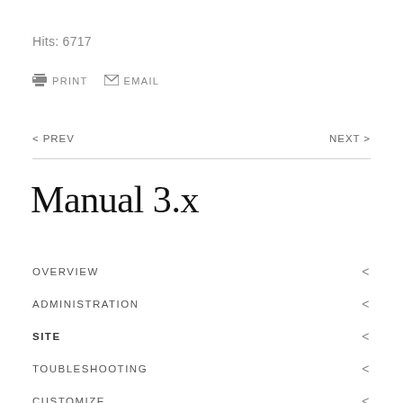Hits: 6717
PRINT  EMAIL
< PREV                                                    NEXT >
Manual 3.x
OVERVIEW
ADMINISTRATION
SITE
TOUBLESHOOTING
CUSTOMIZE